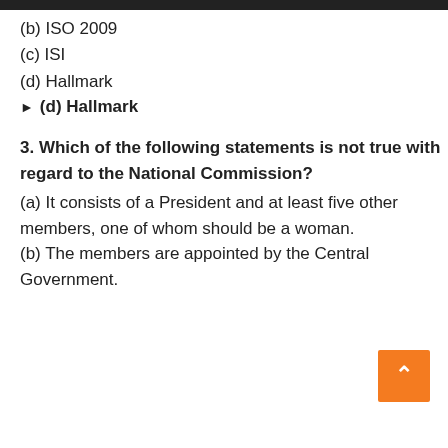(b) ISO 2009
(c) ISI
(d) Hallmark
► (d) Hallmark
3. Which of the following statements is not true with regard to the National Commission?
(a) It consists of a President and at least five other members, one of whom should be a woman.
(b) The members are appointed by the Central Government.